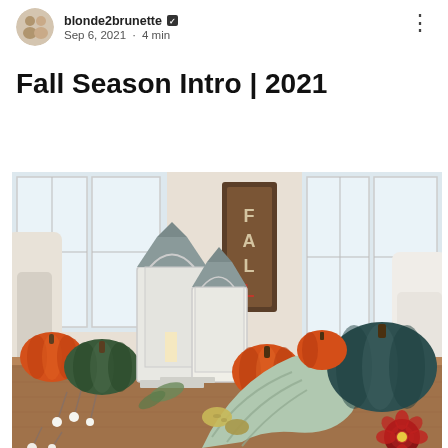blonde2brunette · Sep 6, 2021 · 4 min
Fall Season Intro | 2021
[Figure (photo): A fall-themed table centerpiece with white lanterns, various pumpkins in orange, green, and teal, small gourds, and dried floral stems arranged on a wooden table. A wooden FALL sign is visible in the background along with white chairs and bright windows.]